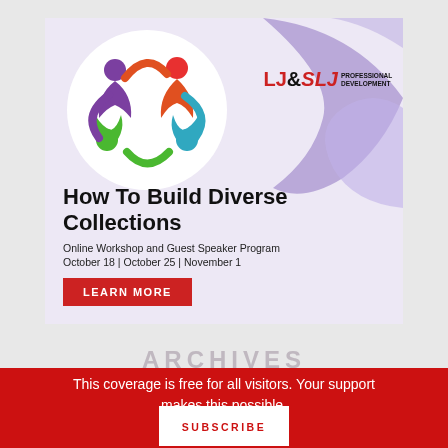[Figure (illustration): Advertisement banner for 'How To Build Diverse Collections' online workshop. Features a colorful circular people logo on white circle background, purple wave design, LJ&SLJ Professional Development logo, event title, dates (October 18, October 25, November 1), and a red LEARN MORE button.]
ARCHIVES
This coverage is free for all visitors. Your support makes this possible.
SUBSCRIBE